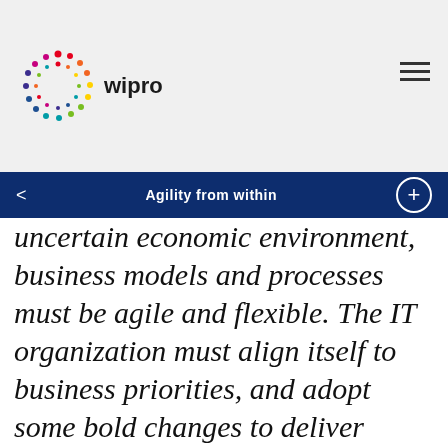[Figure (logo): Wipro logo with colorful dot circle pattern and 'wipro' text]
Agility from within
uncertain economic environment, business models and processes must be agile and flexible. The IT organization must align itself to business priorities, and adopt some bold changes to deliver business value. DevOps can force the IT organization to break out of silos, embrace collaboration, and inject that elixir of